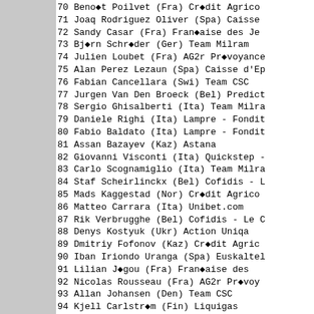70 Benot Poilvet (Fra) Crédit Agrico
71 Joaq Rodriguez Oliver (Spa) Caisse
72 Sandy Casar (Fra) Française des Je
73 Bjørn Schröder (Ger) Team Milram
74 Julien Loubet (Fra) AG2r Prévoyance
75 Alan Perez Lezaun (Spa) Caisse d'Ep
76 Fabian Cancellara (Swi) Team CSC
77 Jurgen Van Den Broeck (Bel) Predict
78 Sergio Ghisalberti (Ita) Team Milra
79 Daniele Righi (Ita) Lampre - Fondit
80 Fabio Baldato (Ita) Lampre - Fondit
81 Assan Bazayev (Kaz) Astana
82 Giovanni Visconti (Ita) Quickstep -
83 Carlo Scognamiglio (Ita) Team Milra
84 Staf Scheirlinckx (Bel) Cofidis - L
85 Mads Kaggestad (Nor) Crédit Agrico
86 Matteo Carrara (Ita) Unibet.com
87 Rik Verbrugghe (Bel) Cofidis - Le C
88 Denys Kostyuk (Ukr) Action Uniqa
89 Dmitriy Fofonov (Kaz) Crédit Agric
90 Iban Iriondo Uranga (Spa) Euskaltel
91 Lilian Jégou (Fra) Française des
92 Nicolas Rousseau (Fra) AG2r Prévoy
93 Allan Johansen (Den) Team CSC
94 Kjell Carlström (Fin) Liquigas
95 Thomas Ziegler (Ger) T-Mobile Team
96 Maciej Bodnar (Pol) Liquigas
97 Hervé Duclos-Lassalle (Fra) Cofidi
98 Dmytro Grabovskyy (Ukr) Quickstep